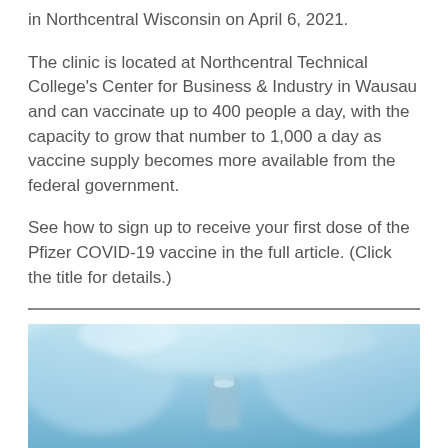in Northcentral Wisconsin on April 6, 2021.
The clinic is located at Northcentral Technical College's Center for Business & Industry in Wausau and can vaccinate up to 400 people a day, with the capacity to grow that number to 1,000 a day as vaccine supply becomes more available from the federal government.
See how to sign up to receive your first dose of the Pfizer COVID-19 vaccine in the full article. (Click the title for details.)
[Figure (photo): Blurred blue-toned photo of medical/laboratory equipment, showing what appears to be a vial or medical device in a clinical setting]